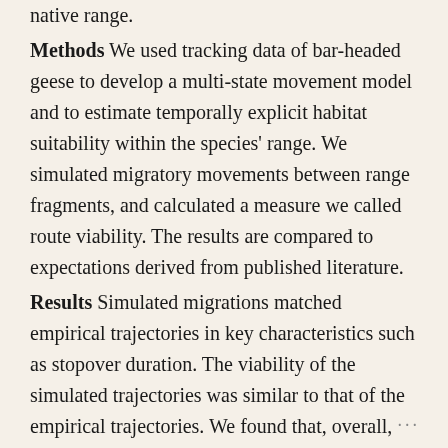native range. Methods We used tracking data of bar-headed geese to develop a multi-state movement model and to estimate temporally explicit habitat suitability within the species' range. We simulated migratory movements between range fragments, and calculated a measure we called route viability. The results are compared to expectations derived from published literature. Results Simulated migrations matched empirical trajectories in key characteristics such as stopover duration. The viability of the simulated trajectories was similar to that of the empirical trajectories. We found that, overall, the migratory connectivity was higher within the breeding than in wintering areas,
...